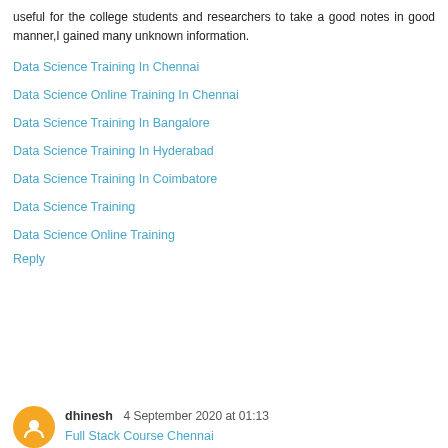useful for the college students and researchers to take a good notes in good manner,I gained many unknown information.
Data Science Training In Chennai
Data Science Online Training In Chennai
Data Science Training In Bangalore
Data Science Training In Hyderabad
Data Science Training In Coimbatore
Data Science Training
Data Science Online Training
Reply
dhinesh 4 September 2020 at 01:13
Full Stack Course Chennai